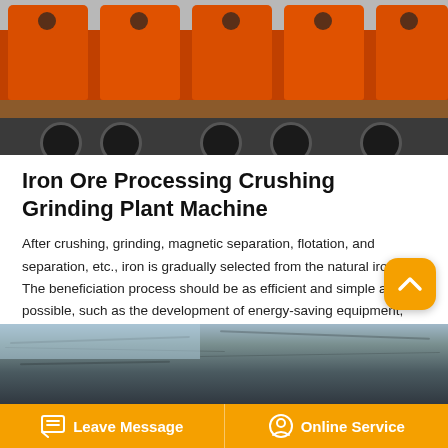[Figure (photo): Orange cylindrical grinding mill machines loaded on a flatbed truck, ready for transport.]
Iron Ore Processing Crushing Grinding Plant Machine
After crushing, grinding, magnetic separation, flotation, and separation, etc., iron is gradually selected from the natural iron ore. The beneficiation process should be as efficient and simple as possible, such as the development of energy-saving equipment, and the best possible results with the most suitable process.
[Figure (photo): Rocky mountain terrain, showing stone/rock face for iron ore mining context.]
Leave Message   Online Service